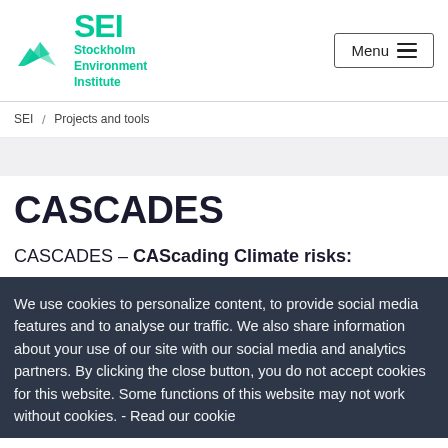SEI Stockholm Environment Institute | Menu
SEI / Projects and tools
CASCADES
CASCADES – CAScading Climate risks:
We use cookies to personalize content, to provide social media features and to analyse our traffic. We also share information about your use of our site with our social media and analytics partners. By clicking the close button, you do not accept cookies for this website. Some functions of this website may not work without cookies. - Read our cookie